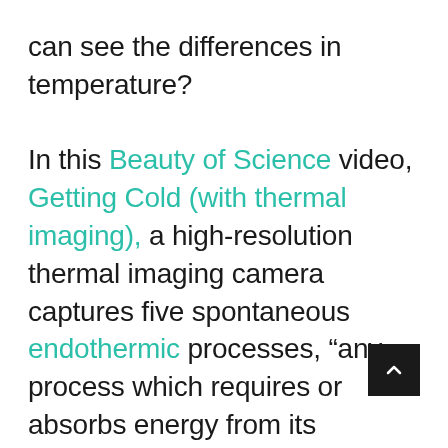can see the differences in temperature?

In this Beauty of Science video, Getting Cold (with thermal imaging), a high-resolution thermal imaging camera captures five spontaneous endothermic processes, “any process which requires or absorbs energy from its surroundings, usually in the form of heat.” See liquid evaporation, ice melting, urea dissolving, the reaction